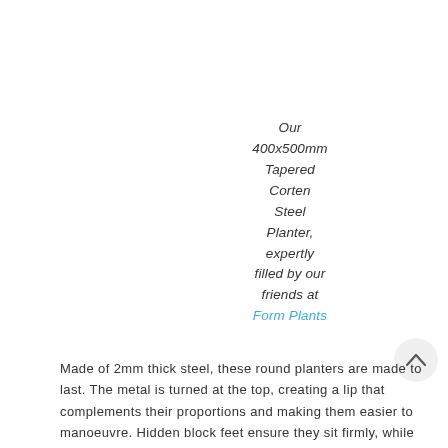Our 400x500mm Tapered Corten Steel Planter, expertly filled by our friends at Form Plants
Made of 2mm thick steel, these round planters are made to last. The metal is turned at the top, creating a lip that complements their proportions and making them easier to manoeuvre. Hidden block feet ensure they sit firmly, while raising them slightly above the ground. This